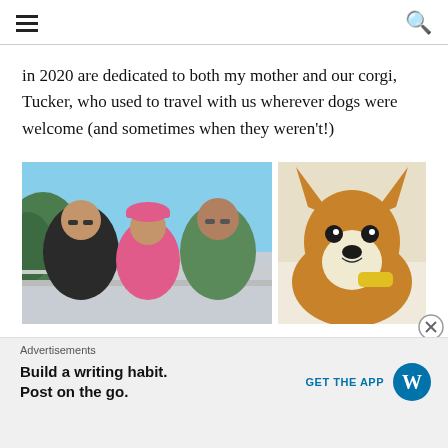[hamburger menu] [search icon]
in 2020 are dedicated to both my mother and our corgi, Tucker, who used to travel with us wherever dogs were welcome (and sometimes when they weren't!)
[Figure (photo): Group photo of three people leaning on a railing outdoors with blue sky and green trees in background; one person wearing a pink cap and pink shirt in the center]
[Figure (photo): Close-up photo of a corgi dog lying down looking at camera, golden and white fur]
Advertisements
Build a writing habit. Post on the go. GET THE APP [WordPress logo]